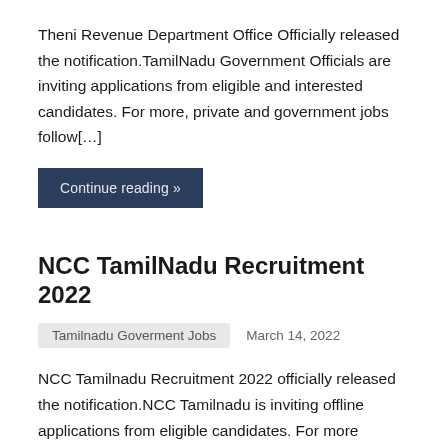Theni Revenue Department Office Officially released the notification.TamilNadu Government Officials are inviting applications from eligible and interested candidates. For more, private and government jobs follow[…]
Continue reading »
NCC TamilNadu Recruitment 2022
Tamilnadu Goverment Jobs   March 14, 2022
NCC Tamilnadu Recruitment 2022 officially released the notification.NCC Tamilnadu is inviting offline applications from eligible candidates. For more Government and Private Job Openings follow our[…]